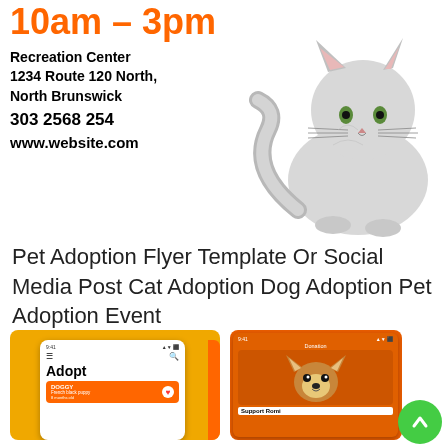10am – 3pm
Recreation Center
1234 Route 120 North,
North Brunswick
303 2568 254
www.website.com
[Figure (photo): Fluffy grey/white cat sitting, viewed from front, long fur, tail extended to left]
Pet Adoption Flyer Template Or Social Media Post Cat Adoption Dog Adoption Pet Adoption Event
[Figure (screenshot): Mobile app screenshot on yellow background showing pet adoption app with 'Adopt' heading and a dog listing for DOGGY, French black puppy]
[Figure (screenshot): Mobile app screenshot on orange background showing Donation page with corgi puppy and Support Romi text]